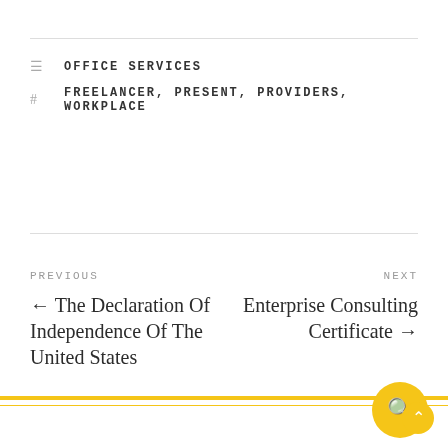OFFICE SERVICES
FREELANCER, PRESENT, PROVIDERS, WORKPLACE
PREVIOUS
← The Declaration Of Independence Of The United States
NEXT
Enterprise Consulting Certificate →